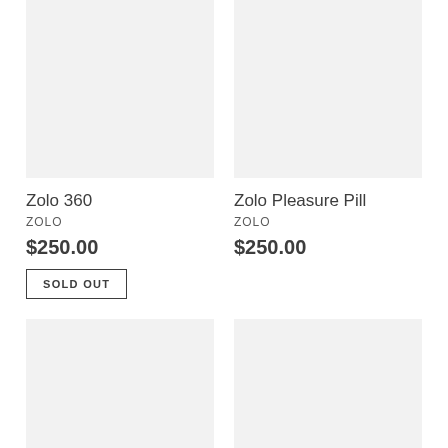[Figure (photo): Product image placeholder for Zolo 360, light gray rectangle]
Zolo 360
ZOLO
$250.00
SOLD OUT
[Figure (photo): Product image placeholder for Zolo Pleasure Pill, light gray rectangle]
Zolo Pleasure Pill
ZOLO
$250.00
[Figure (photo): Product image placeholder bottom left, light gray rectangle]
[Figure (photo): Product image placeholder bottom right, light gray rectangle]